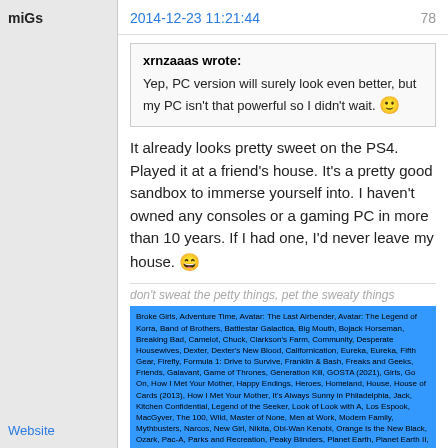miGs
2014-12-23 11:21:44
78
xrnzaaas wrote: Yep, PC version will surely look even better, but my PC isn't that powerful so I didn't wait. 🙂
It already looks pretty sweet on the PS4. Played it at a friend's house. It's a pretty good sandbox to immerse yourself into. I haven't owned any consoles or a gaming PC in more than 10 years. If I had one, I'd never leave my house. 😄
don't sweat the petty things, pet the sweaty things
[Figure (other): Blue highlighted block of text listing many TV shows served from next-episode.net]
Website